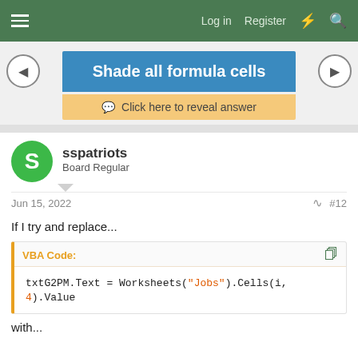≡   Log in   Register   ⚡   🔍
Shade all formula cells
Click here to reveal answer
sspatriots
Board Regular
Jun 15, 2022   #12
If I try and replace...
VBA Code:
txtG2PM.Text = Worksheets("Jobs").Cells(i, 4).Value
with...